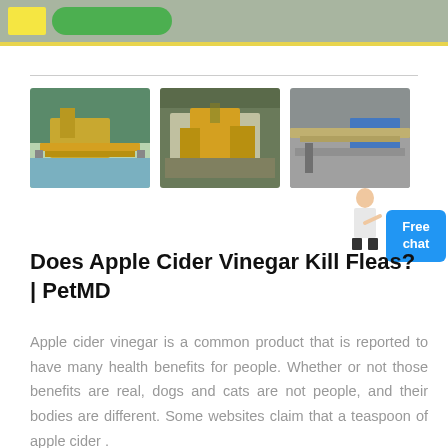[Figure (photo): Three photos of yellow industrial mining/crushing machinery equipment in outdoor settings]
[Figure (illustration): Woman figure pointing toward a blue Free chat button]
Does Apple Cider Vinegar Kill Fleas? | PetMD
Apple cider vinegar is a common product that is reported to have many health benefits for people. Whether or not those benefits are real, dogs and cats are not people, and their bodies are different. Some websites claim that a teaspoon of apple cider .